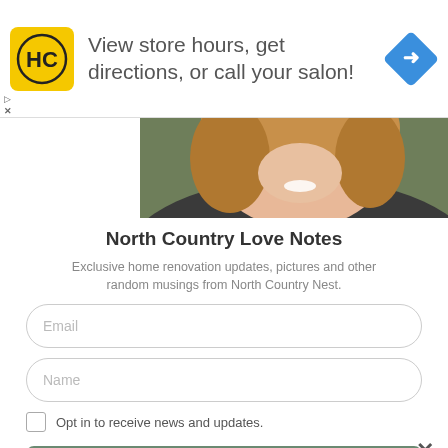[Figure (infographic): Ad banner with HC salon logo (yellow square with HC letters), text 'View store hours, get directions, or call your salon!' and a blue diamond turn-right arrow icon]
[Figure (photo): Cropped circular photo of a smiling woman with long blonde hair, partially visible from chest up]
North Country Love Notes
Exclusive home renovation updates, pictures and other random musings from North Country Nest.
Email
Name
Opt in to receive news and updates.
SUBSCRIBE